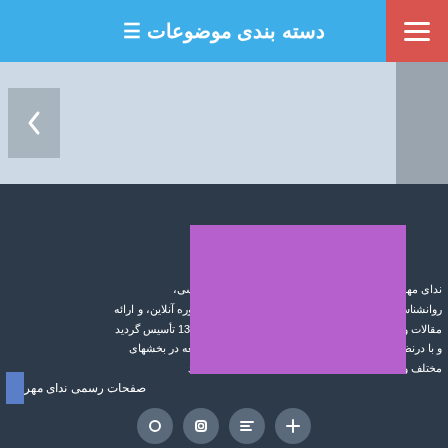دسته بندی موضوعات
[Figure (screenshot): Navigation carousel area with left arrow button on grey-blue background]
[Figure (illustration): Purple/violet filled rectangle card overlay]
ندای مهر با هدف ارائه خدمات مشاوره خانواده، روانشناسی، روانشناسی کودک، مشاوره ازدواج، عشاوره طلاق، مشاوره آنلاین، و ارائه مقالات و متون تخصصی در حوزه روانشناسی در سال 1393 تأسیس گردید و با درنظر گرفتن نیازها و پیشنهادات کاربران در حال توسعه در بخشهای مختلف و خدمات گوناگون مشاوره و روانشناسی می باشد
صفحات رسمی ندای مهر